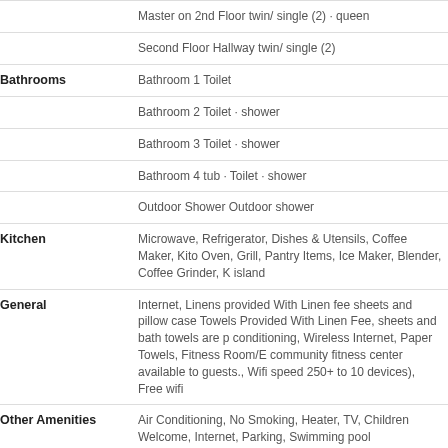| Category | Details |
| --- | --- |
|  | Master on 2nd Floor twin/ single (2) · queen |
|  | Second Floor Hallway twin/ single (2) |
| Bathrooms | Bathroom 1 Toilet |
|  | Bathroom 2 Toilet · shower |
|  | Bathroom 3 Toilet · shower |
|  | Bathroom 4 tub · Toilet · shower |
|  | Outdoor Shower Outdoor shower |
| Kitchen | Microwave, Refrigerator, Dishes & Utensils, Coffee Maker, Kitchen Oven, Grill, Pantry Items, Ice Maker, Blender, Coffee Grinder, K… island |
| General | Internet, Linens provided With Linen fee sheets and pillow cases, Towels Provided With Linen Fee, sheets and bath towels are p… conditioning, Wireless Internet, Paper Towels, Fitness Room/E… community fitness center available to guests., Wifi speed 250+… to 10 devices), Free wifi |
| Other Amenities | Air Conditioning, No Smoking, Heater, TV, Children Welcome, Internet, Parking, Swimming pool |
| Entertainment | Television We have Internet TV using YouTube TV as our local provider. All of the televisions are Roku TVs so you simply hav… |